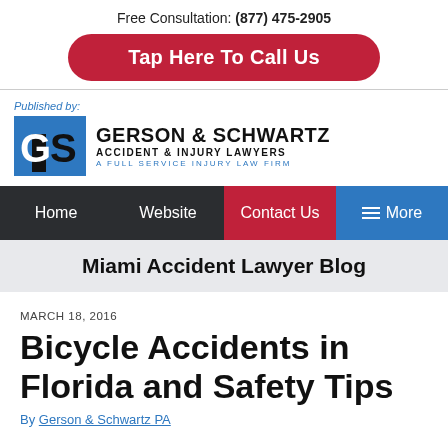Free Consultation: (877) 475-2905
Tap Here To Call Us
[Figure (logo): Gerson & Schwartz Accident & Injury Lawyers logo with GS monogram icon. Published by: label above logo.]
Home  Website  Contact Us  More
Miami Accident Lawyer Blog
MARCH 18, 2016
Bicycle Accidents in Florida and Safety Tips
By Gerson & Schwartz PA